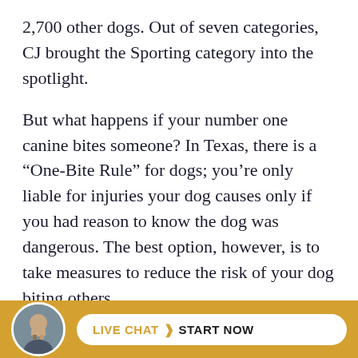2,700 other dogs. Out of seven categories, CJ brought the Sporting category into the spotlight.
But what happens if your number one canine bites someone? In Texas, there is a “One-Bite Rule” for dogs; you’re only liable for injuries your dog causes only if you had reason to know the dog was dangerous. The best option, however, is to take measures to reduce the risk of your dog biting others.
Here are 2 ways that you can keep your dog from biting